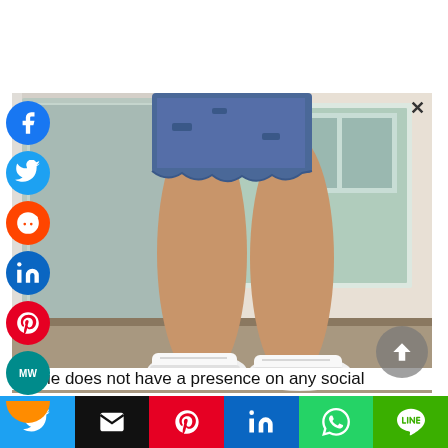[Figure (photo): Photo of a person from waist down wearing a distressed denim mini skirt and white sneakers, standing against a white door/wall background with a tiled patio floor.]
Jackie does not have a presence on any social